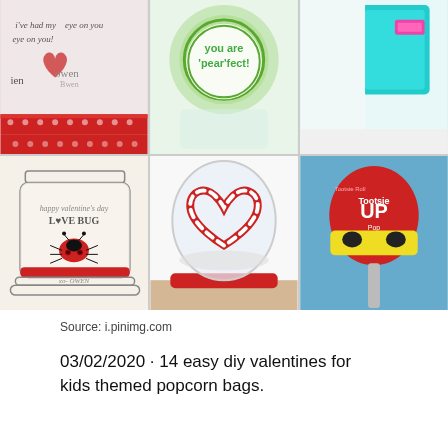[Figure (photo): Grid of 6 Valentine's Day craft photos arranged in 2 rows and 3 columns: row 1 shows handmade valentine cards with names 'owen', a green round container with 'you are pear'fect!' text, and a teal/turquoise object; row 2 shows a mason jar valentine card with ladybug saying 'happy valentine's day LOVE BUG xo- OWEN', a glass snow globe with candy cane heart, and a red lollipop decorated as a superhero with yellow mask.]
Source: i.pinimg.com
03/02/2020 · 14 easy diy valentines for kids themed popcorn bags.